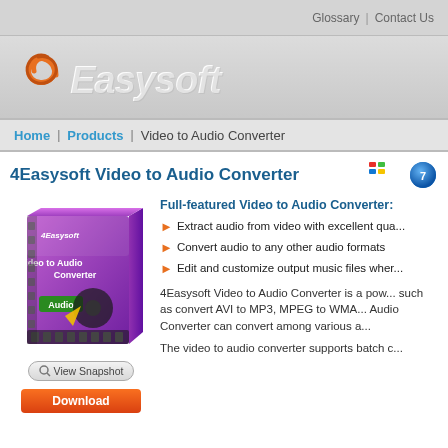Glossary | Contact Us
[Figure (logo): 4Easysoft logo with orange swirl and italic white/grey Easysoft text on gradient grey background]
Home | Products | Video to Audio Converter
4Easysoft Video to Audio Converter
[Figure (illustration): 4Easysoft Video to Audio Converter software box with purple background showing Audio label and film reel graphic]
View Snapshot
Full-featured Video to Audio Converter:
Extract audio from video with excellent qua...
Convert audio to any other audio formats
Edit and customize output music files wher...
4Easysoft Video to Audio Converter is a pow... such as convert AVI to MP3, MPEG to WMA... Audio Converter can convert among various a...
The video to audio converter supports batch c...